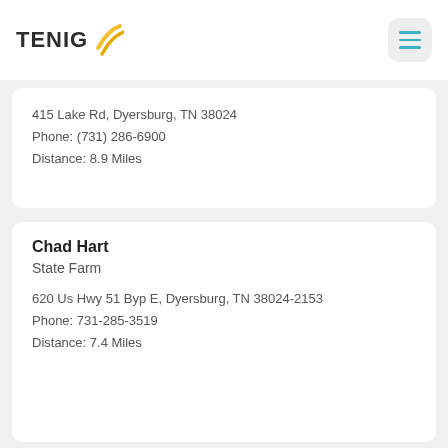TENIG
415 Lake Rd, Dyersburg, TN 38024
Phone: (731) 286-6900
Distance: 8.9 Miles
Chad Hart
State Farm
620 Us Hwy 51 Byp E, Dyersburg, TN 38024-2153
Phone: 731-285-3519
Distance: 7.4 Miles